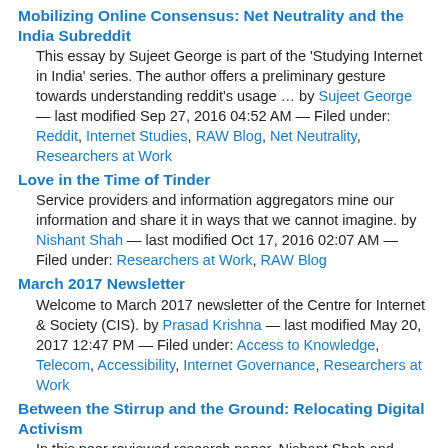Mobilizing Online Consensus: Net Neutrality and the India Subreddit
This essay by Sujeet George is part of the 'Studying Internet in India' series. The author offers a preliminary gesture towards understanding reddit's usage … by Sujeet George — last modified Sep 27, 2016 04:52 AM — Filed under: Reddit, Internet Studies, RAW Blog, Net Neutrality, Researchers at Work
Love in the Time of Tinder
Service providers and information aggregators mine our information and share it in ways that we cannot imagine. by Nishant Shah — last modified Oct 17, 2016 02:07 AM — Filed under: Researchers at Work, RAW Blog
March 2017 Newsletter
Welcome to March 2017 newsletter of the Centre for Internet & Society (CIS). by Prasad Krishna — last modified May 20, 2017 12:47 PM — Filed under: Access to Knowledge, Telecom, Accessibility, Internet Governance, Researchers at Work
Between the Stirrup and the Ground: Relocating Digital Activism
In this peer reviewed research paper, Nishant Shah and